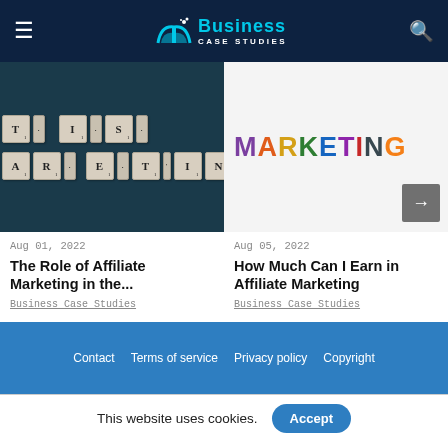Business Case Studies
[Figure (photo): Scrabble tiles spelling IT IS MARKETING on dark background]
Aug 01, 2022
The Role of Affiliate Marketing in the...
Business Case Studies
[Figure (photo): Colorful MARKETING letters on white background with arrow button]
Aug 05, 2022
How Much Can I Earn in Affiliate Marketing
Business Case Studies
Contact  Terms of service  Privacy policy  Copyright
This website uses cookies.  Accept